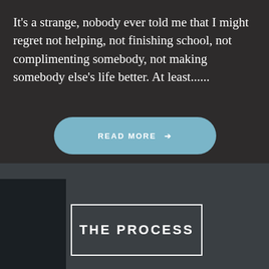It's a strange, nobody ever told me that I might regret not helping, not finishing school, not complimenting somebody, not making somebody else's life better. At least......
[Figure (other): A rounded rectangular button with light blue background containing the text READ MORE with a right arrow]
THE PROCESS